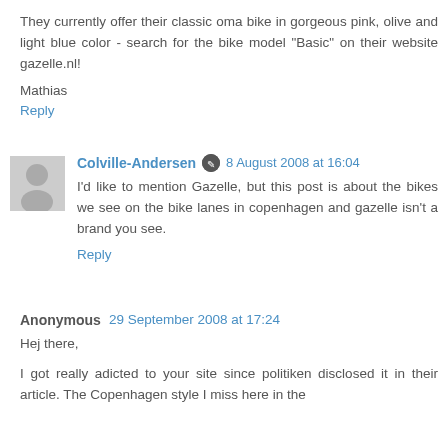They currently offer their classic oma bike in gorgeous pink, olive and light blue color - search for the bike model "Basic" on their website gazelle.nl!
Mathias
Reply
Colville-Andersen  8 August 2008 at 16:04
I'd like to mention Gazelle, but this post is about the bikes we see on the bike lanes in copenhagen and gazelle isn't a brand you see.
Reply
Anonymous  29 September 2008 at 17:24
Hej there,
I got really adicted to your site since politiken disclosed it in their article. The Copenhagen style I miss here in the